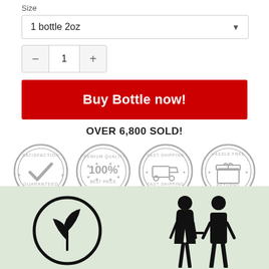Size
1 bottle 2oz
− 1 +
Buy Bottle now!
OVER 6,800 SOLD!
[Figure (illustration): Four circular badge icons: Satisfaction Guaranteed (checkmark), Premium Quality 100% Best Price, Fast Shipping (truck icon), Hassle Free Returns (box icon). All in grey outline style.]
[Figure (illustration): Lower green section with two icons: a plant/leaf icon inside a circle on the left, and two human figures (couple) holding hands on the right. All in black silhouette style.]